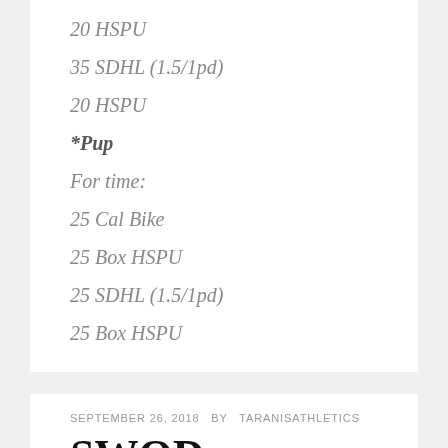20 HSPU
35 SDHL (1.5/1pd)
20 HSPU
*Pup
For time:
25 Cal Bike
25 Box HSPU
25 SDHL (1.5/1pd)
25 Box HSPU
SEPTEMBER 26, 2018   BY   TARANISATHLETICS
SWOD Thursday September 27th